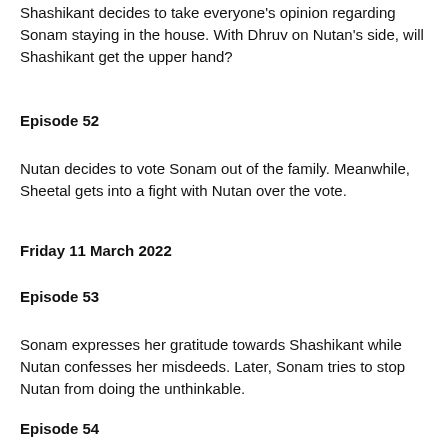Shashikant decides to take everyone's opinion regarding Sonam staying in the house. With Dhruv on Nutan's side, will Shashikant get the upper hand?
Episode 52
Nutan decides to vote Sonam out of the family. Meanwhile, Sheetal gets into a fight with Nutan over the vote.
Friday 11 March 2022
Episode 53
Sonam expresses her gratitude towards Shashikant while Nutan confesses her misdeeds. Later, Sonam tries to stop Nutan from doing the unthinkable.
Episode 54